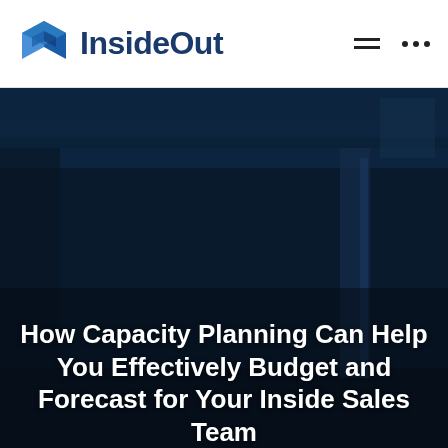[Figure (logo): InsideOut company logo with blue 3D cube icon and 'InsideOut' text in dark blue]
[Figure (photo): Dark blue-toned photo of an indoor office or warehouse space, used as hero background image]
How Capacity Planning Can Help You Effectively Budget and Forecast for Your Inside Sales Team